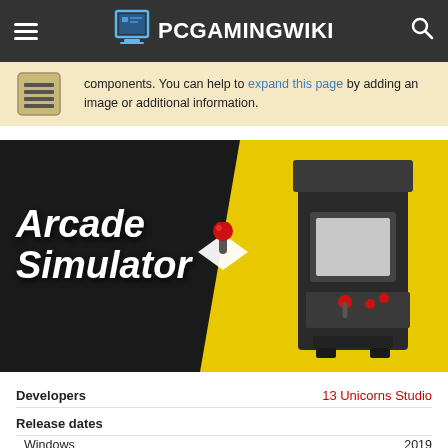PCGamingWiki
components. You can help to expand this page by adding an image or additional information.
[Figure (illustration): Arcade Simulator game banner showing the game title 'Arcade Simulator' in italic white font with a joystick logo on a dark background, alongside a 3D rendered arcade cabinet on a yellow background.]
|  |  |
| --- | --- |
| Developers | 13 Unicorns Studio |
| Release dates |  |
| Windows | 2019 |